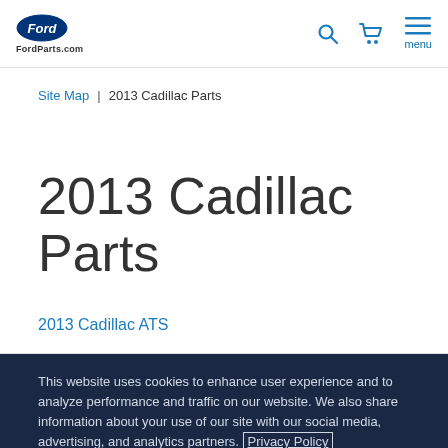FordParts.com
Site Map | 2013 Cadillac Parts
2013 Cadillac Parts
2013 Cadillac ATS
This website uses cookies to enhance user experience and to analyze performance and traffic on our website. We also share information about your use of our site with our social media, advertising, and analytics partners. Privacy Policy